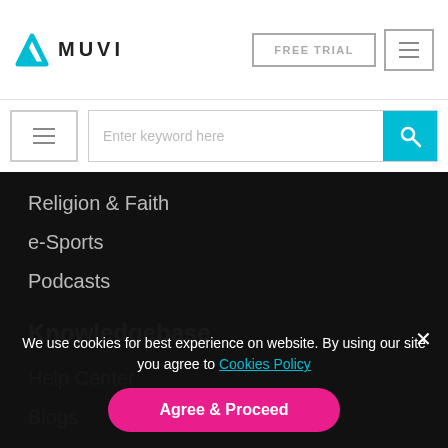MUVI — FREE TRIAL
[Figure (logo): Muvi logo with blue triangular icon and MUVI text]
Religion & Faith
e-Sports
Podcasts
Knowledgebase
Help Center
Blogs
Wiki
We use cookies for best experience on website. By using our site you agree to Cookies Policy
Agree & Proceed